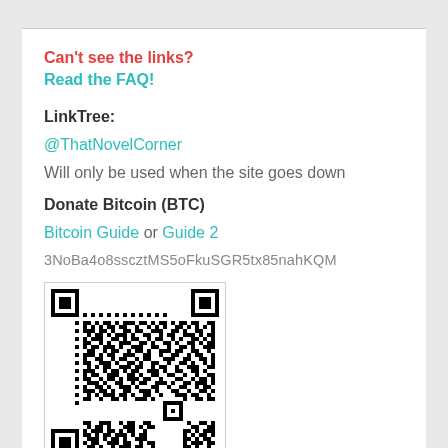Can't see the links? Read the FAQ!
LinkTree:
@ThatNovelCorner
Will only be used when the site goes down
Donate Bitcoin (BTC)
Bitcoin Guide or Guide 2
3NoBa4o8sscztMS5oFkuSGR5tx85nahKQM
[Figure (other): QR code for Bitcoin donation address 3NoBa4o8sscztMS5oFkuSGR5tx85nahKQM]